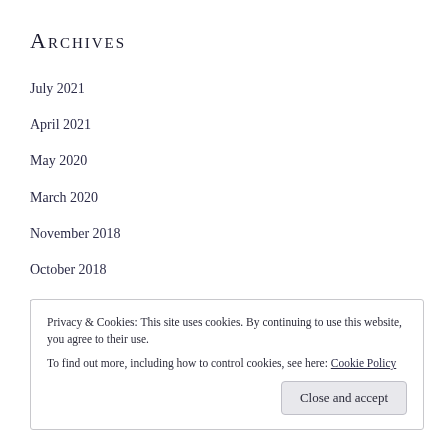Archives
July 2021
April 2021
May 2020
March 2020
November 2018
October 2018
February 2018
October 2016
Privacy & Cookies: This site uses cookies. By continuing to use this website, you agree to their use.
To find out more, including how to control cookies, see here: Cookie Policy
Close and accept